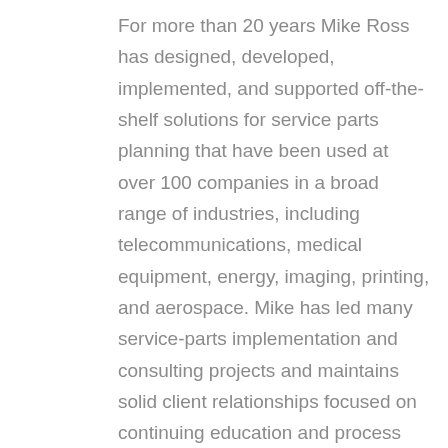For more than 20 years Mike Ross has designed, developed, implemented, and supported off-the-shelf solutions for service parts planning that have been used at over 100 companies in a broad range of industries, including telecommunications, medical equipment, energy, imaging, printing, and aerospace. Mike has led many service-parts implementation and consulting projects and maintains solid client relationships focused on continuing education and process improvement. And in 2014, he was named as a Supply Chain “Pro to Know” by Supply and Demand Chain Executive magazine.